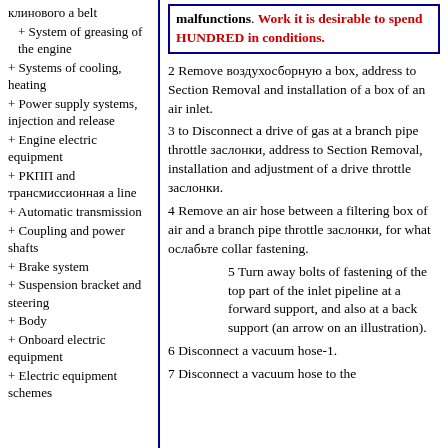клинового a belt
+ System of greasing of the engine
+ Systems of cooling, heating
+ Power supply systems, injection and release
+ Engine electric equipment
+ РКПП and трансмиссионная a line
+ Automatic transmission
+ Coupling and power shafts
+ Brake system
+ Suspension bracket and steering
+ Body
+ Onboard electric equipment
+ Electric equipment schemes
malfunctions. Work it is desirable to spend HUNDRED in conditions.
2 Remove воздухосборную a box, address to Section Removal and installation of a box of an air inlet.
3 to Disconnect a drive of gas at a branch pipe throttle заслонки, address to Section Removal, installation and adjustment of a drive throttle заслонки.
4 Remove an air hose between a filtering box of air and a branch pipe throttle заслонки, for what ослабьте collar fastening.
5 Turn away bolts of fastening of the top part of the inlet pipeline at a forward support, and also at a back support (an arrow on an illustration).
6 Disconnect a vacuum hose-1.
7 Disconnect a vacuum hose to the